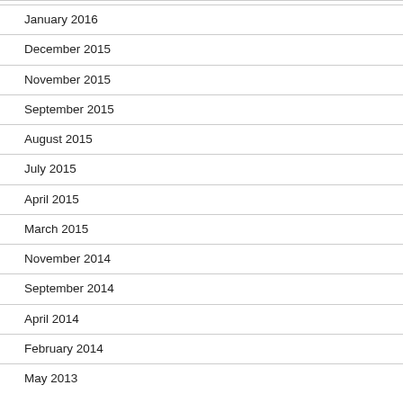January 2016
December 2015
November 2015
September 2015
August 2015
July 2015
April 2015
March 2015
November 2014
September 2014
April 2014
February 2014
May 2013